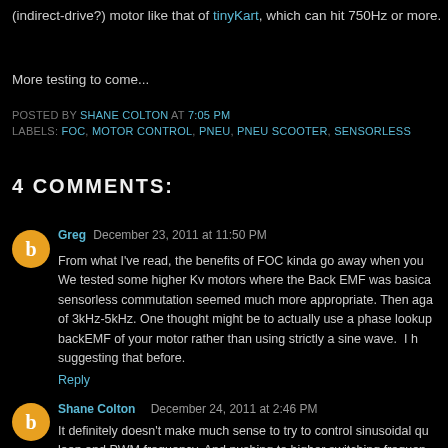(indirect-drive?) motor like that of tinyKart, which can hit 750Hz or more.
More testing to come...
POSTED BY SHANE COLTON AT 7:05 PM
LABELS: FOC, MOTOR CONTROL, PNEU, PNEU SCOOTER, SENSORLESS
4 COMMENTS:
Greg  December 23, 2011 at 11:50 PM
From what I've read, the benefits of FOC kinda go away when you We tested some higher Kv motors where the Back EMF was basica sensorless commutation seemed much more appropriate. Then aga of 3kHz-5kHz. One thought might be to actually use a phase lookup backEMF of your motor rather than using strictly a sine wave. I h suggesting that before.
Reply
Shane Colton  December 24, 2011 at 2:46 PM
It definitely doesn't make much sense to try to control sinusoidal qu loop and PWM frequency. And pushing to higher switching frequen sense. I agree. Block commutation is simple enough to run a